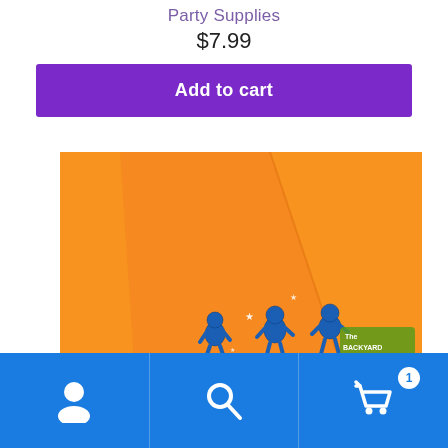Party Supplies
$7.99
Add to cart
[Figure (photo): Close-up photo of an orange party hat or bag with blue cartoon character figures (Backyardigans) printed on it and star decorations.]
Navigation bar with user icon, search icon, and cart icon with badge showing 1 item